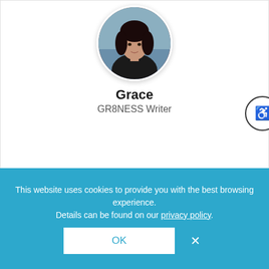[Figure (photo): Circular profile photo of Grace, a woman in a dark top, photographed outdoors]
Grace
GR8NESS Writer
Grace is a self-proclaimed plant aficionado and self care advocate. At any given time, you can catch her penning new pieces about the latest house plant hacks, home décor, trends in the beauty space, and self care tips that promote better sleeping and even better living. Catch her snapping pictures of her newest succulents or out on the trails in her new home of Colorado
This website uses cookies to provide you with the best browsing experience. Details can be found on our privacy policy.